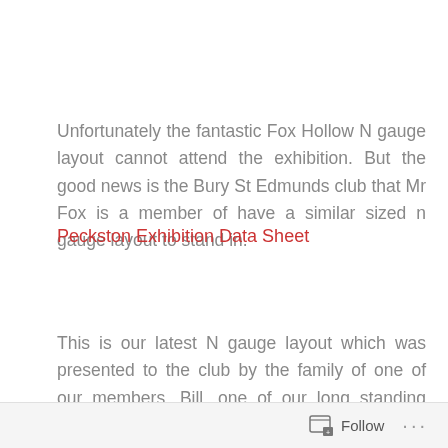Unfortunately the fantastic Fox Hollow N gauge layout cannot attend the exhibition. But the good news is the Bury St Edmunds club that Mr Fox is a member of have a similar sized n gauge layout to stand in.
Peckston Exhibition Data Sheet
This is our latest N gauge layout which was presented to the club by the family of one of our members. Bill, one of our long standing members immediately took on the task of renovating and improving the layout in order for the